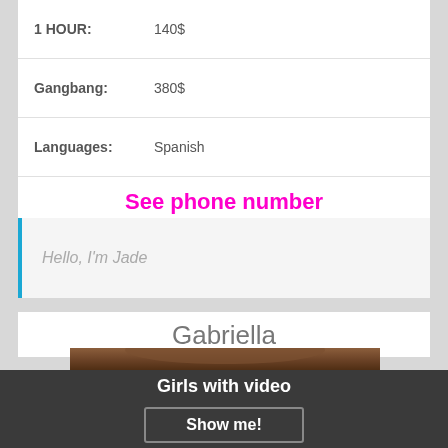| 1 HOUR: | 140$ |
| Gangbang: | 380$ |
| Languages: | Spanish |
See phone number
Hello, I'm Jade
Gabriella
[Figure (photo): Photo of a woman with brown hair, partial view showing top of head and face]
Girls with video
Show me!